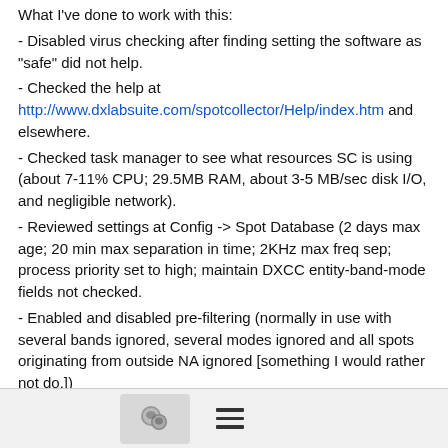What I've done to work with this:
- Disabled virus checking after finding setting the software as "safe" did not help.
- Checked the help at http://www.dxlabsuite.com/spotcollector/Help/index.htm and elsewhere.
- Checked task manager to see what resources SC is using (about 7-11% CPU; 29.5MB RAM, about 3-5 MB/sec disk I/O, and negligible network).
- Reviewed settings at Config -> Spot Database (2 days max age; 20 min max separation in time; 2KHz max freq sep; process priority set to high; maintain DXCC entity-band-mode fields not checked.
- Enabled and disabled pre-filtering (normally in use with several bands ignored, several modes ignored and all spots originating from outside NA ignored [something I would rather not do.])
- Considered "What changed" -- nothing I can identify.
The other DXLab products seem to be working fine.